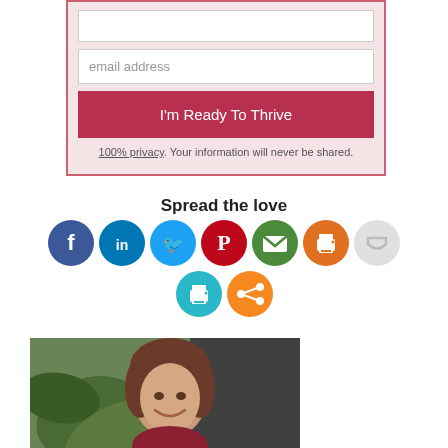[Figure (screenshot): Email signup form with input field showing 'email address' placeholder, a dark red button labeled 'I'm Ready To Thrive', and privacy notice text. Background has pink floral pattern.]
Spread the love
[Figure (infographic): Row of social media sharing icons: Facebook (dark blue), LinkedIn (blue), Twitter (light blue), Pinterest (red), Email (green), Print (orange), Pocket (light gray). Second row: Print (teal), Share (orange).]
[Figure (photo): Photo of a smiling woman with short brown hair, surrounded by green plants/leaves.]